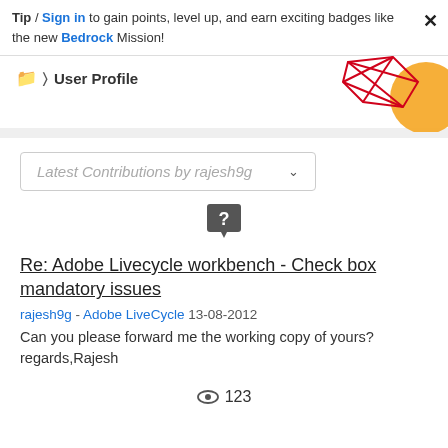Tip / Sign in to gain points, level up, and earn exciting badges like the new Bedrock Mission!
User Profile
[Figure (illustration): Decorative geometric graphic with red lines forming diamond/polygon shapes and an orange circle in the top-right corner]
Latest Contributions by rajesh9g (dropdown)
[Figure (other): Dark gray speech bubble icon with a question mark]
Re: Adobe Livecycle workbench - Check box mandatory issues
rajesh9g - Adobe LiveCycle  13-08-2012
Can you please forward me the working copy of yours?
regards,Rajesh
123